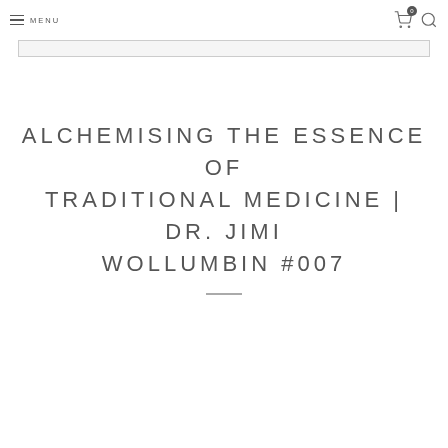MENU
ALCHEMISING THE ESSENCE OF TRADITIONAL MEDICINE | DR. JIMI WOLLUMBIN #007